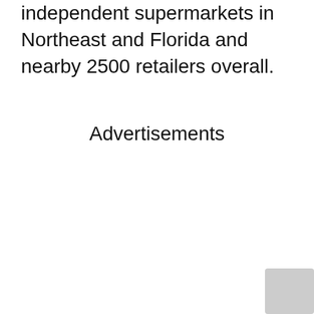independent supermarkets in Northeast and Florida and nearby 2500 retailers overall.
Advertisements